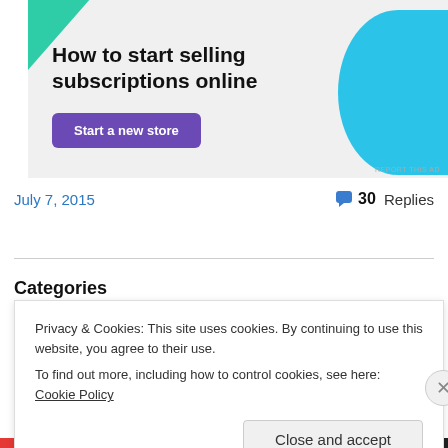[Figure (infographic): Advertisement banner with green triangle top-left, cyan arc right side, dark text heading 'How to start selling subscriptions online', and purple 'Start a new store' button on light grey background.]
July 7, 2015
30 Replies
Categories
Privacy & Cookies: This site uses cookies. By continuing to use this website, you agree to their use.
To find out more, including how to control cookies, see here: Cookie Policy
Close and accept